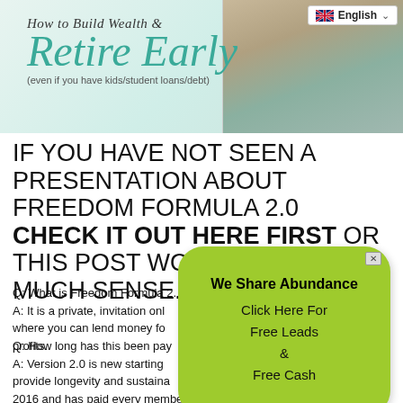[Figure (illustration): Website banner for 'How to Build Wealth & Retire Early (even if you have kids/student loans/debt)' with teal cursive text and a photo of people on the right, and an English language selector in the top right corner.]
IF YOU HAVE NOT SEEN A PRESENTATION ABOUT FREEDOM FORMULA 2.0 CHECK IT OUT HERE FIRST OR THIS POST WON'T MAKE AS MUCH SENSE.
Q: What is Freedom Formula 2... A: It is a private, invitation only... where you can lend money for... profits.
Q: How long has this been pay... A: Version 2.0 is new starting... provide longevity and sustaina... 2016 and has paid every member... but ceases with the introduction of versi... 0.
[Figure (infographic): Green speech bubble popup ad reading 'We Share Abundance - Click Here For Free Leads & Free Cash' with a close button (x) in the top right.]